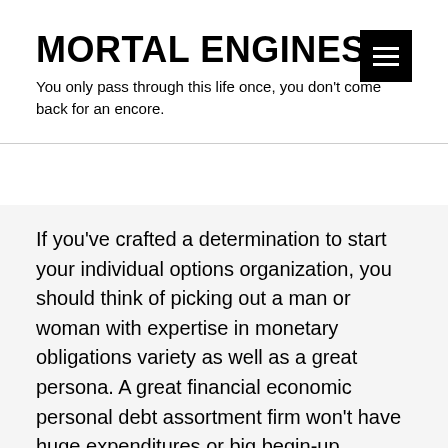MORTAL ENGINES
You only pass through this life once, you don't come back for an encore.
If you've crafted a determination to start your individual options organization, you should think of picking out a man or woman with expertise in monetary obligations variety as well as a great persona. A great financial economic personal debt assortment firm won't have huge expenditures or big begin-up expenses. But you will still try out consuming some money to get started on out, because lots of private financial debt fans make 20 to 30 pct repayment repayment off their collection. Moreover, the commission fees won't seem up to the debtors dedicate the money for funds, so that you must deal with your expenses right now. If you're struggling to produce